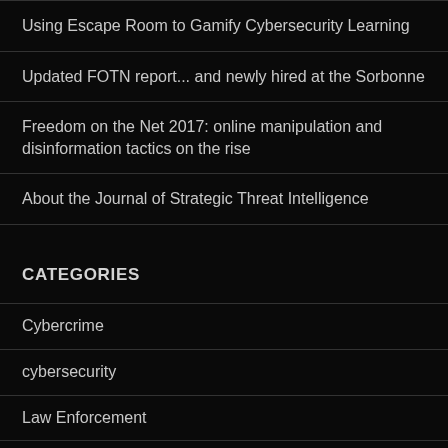Using Escape Room to Gamify Cybersecurity Learning
Updated FOTN report... and newly hired at the Sorbonne
Freedom on the Net 2017: online manipulation and disinformation tactics on the rise
About the Journal of Strategic Threat Intelligence
CATEGORIES
Cybercrime
cybersecurity
Law Enforcement
Money Laundering
News
online crime